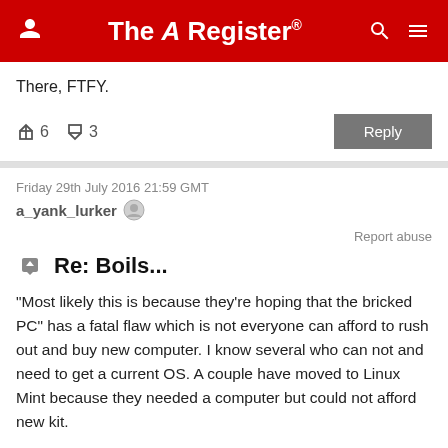The Register
There, FTFY.
↑6  ↓3
Friday 29th July 2016 21:59 GMT
a_yank_lurker
Report abuse
Re: Boils...
"Most likely this is because they're hoping that the bricked PC" has a fatal flaw which is not everyone can afford to rush out and buy new computer. I know several who can not and need to get a current OS. A couple have moved to Linux Mint because they needed a computer but could not afford new kit.
↑4  ↓0